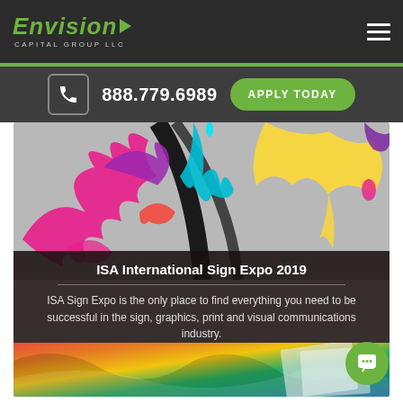Envision Capital Group LLC
888.779.6989
APPLY TODAY
[Figure (photo): Colorful paint splash with multiple colors including pink, purple, cyan, yellow and red on grey background above a dark overlay, and colorful printed materials below]
ISA International Sign Expo 2019
ISA Sign Expo is the only place to find everything you need to be successful in the sign, graphics, print and visual communications industry.